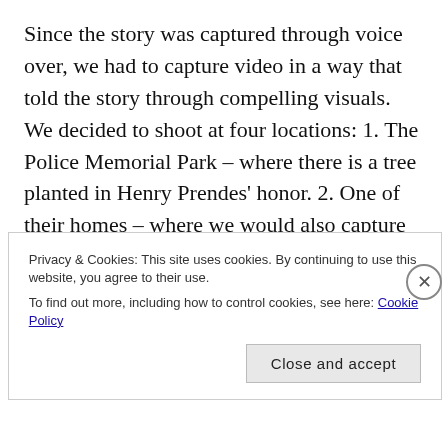Since the story was captured through voice over, we had to capture video in a way that told the story through compelling visuals.  We decided to shoot at four locations: 1. The Police Memorial Park – where there is a tree planted in Henry Prendes' honor. 2. One of their homes – where we would also capture family photos. 3. In front of a police station. 4. And finally Henry's gravestone with the full family present.  In all locations, we also captured b-roll of items that related to their
Privacy & Cookies: This site uses cookies. By continuing to use this website, you agree to their use.
To find out more, including how to control cookies, see here: Cookie Policy
Close and accept